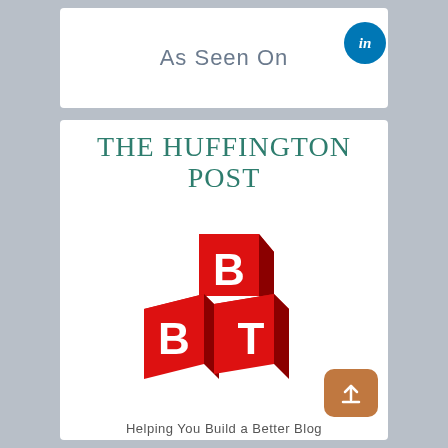As Seen On
[Figure (logo): LinkedIn icon button (blue circle with 'in')]
THE HUFFINGTON POST
[Figure (logo): BBT (Better Blog Tips) logo — three red 3D cubes with white letters B, B, T]
[Figure (other): Share/upload icon button (brown/orange rounded rectangle with upward arrow)]
Helping You Build a Better Blog